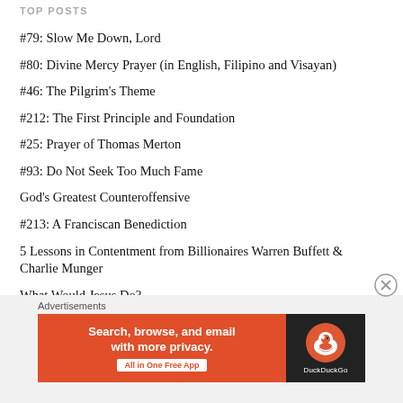TOP POSTS
#79: Slow Me Down, Lord
#80: Divine Mercy Prayer (in English, Filipino and Visayan)
#46: The Pilgrim's Theme
#212: The First Principle and Foundation
#25: Prayer of Thomas Merton
#93: Do Not Seek Too Much Fame
God's Greatest Counteroffensive
#213: A Franciscan Benediction
5 Lessons in Contentment from Billionaires Warren Buffett & Charlie Munger
What Would Jesus Do?
Advertisements
[Figure (infographic): DuckDuckGo advertisement banner: orange left panel with text 'Search, browse, and email with more privacy. All in One Free App', dark right panel with DuckDuckGo duck logo and label.]